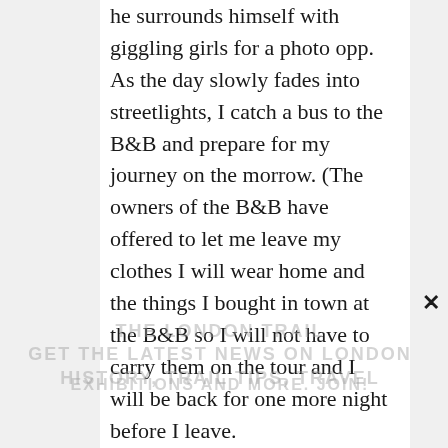he surrounds himself with giggling girls for a photo opp. As the day slowly fades into streetlights, I catch a bus to the B&B and prepare for my journey on the morrow. (The owners of the B&B have offered to let me leave my clothes I will wear home and the things I bought in town at the B&B so I will not have to carry them on the tour and I will be back for one more night before I leave.